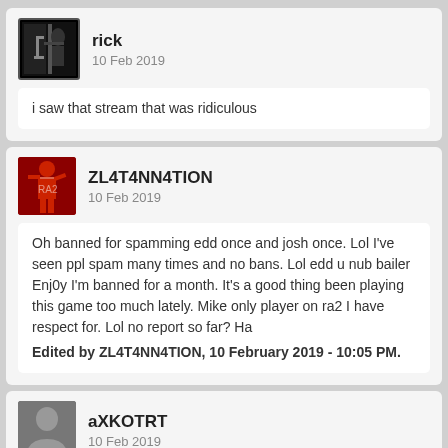rick
10 Feb 2019
i saw that stream that was ridiculous
ZL4T4NN4TION
10 Feb 2019
Oh banned for spamming edd once and josh once. Lol I've seen ppl spam many times and no bans. Lol edd u nub bailer
Enj0y I'm banned for a month. It's a good thing been playing this game too much lately. Mike only player on ra2 I have respect for. Lol no report so far? Ha
Edited by ZL4T4NN4TION, 10 February 2019 - 10:05 PM.
aXKOTRT
10 Feb 2019
Has Zlatan been told why? Has there been a cheat report or is someone from S-T gonna confirm this?

Looks like playground bullying from the casual observer.